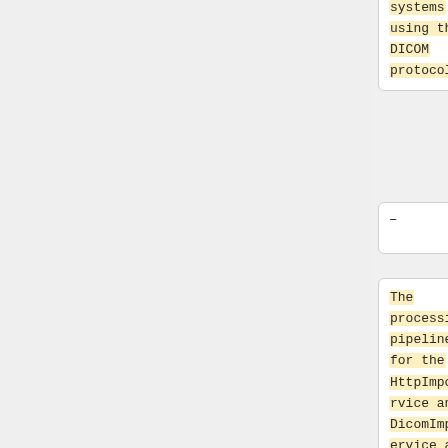systems using the DICOM protocol.
–
The processing pipelines for the HttpImportService and DicomImportService are different. They are not symmetrical. For example, the HttpImportService does not have